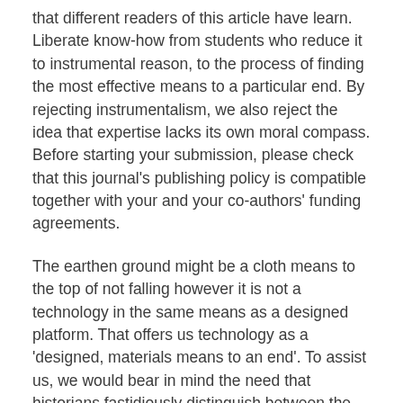that different readers of this article have learn. Liberate know-how from students who reduce it to instrumental reason, to the process of finding the most effective means to a particular end. By rejecting instrumentalism, we also reject the idea that expertise lacks its own moral compass. Before starting your submission, please check that this journal's publishing policy is compatible together with your and your co-authors' funding agreements.
The earthen ground might be a cloth means to the top of not falling however it is not a technology in the same means as a designed platform. That offers us technology as a 'designed, materials means to an end'. To assist us, we would bear in mind the need that historians fastidiously distinguish between the concepts utilized by historic actors and the analytical ideas deployed by historians. Schatzberg has given us a detailed and fair account of the concepts akin to 'technology' as they've been used by historical actors in Europe and America over two millennia. Inevitably the label to cowl these